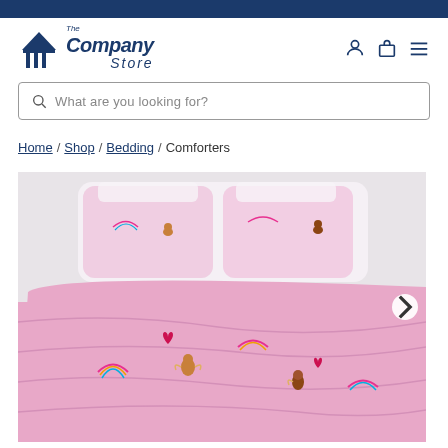The Company Store
What are you looking for?
Home / Shop / Bedding / Comforters
[Figure (photo): Pink children's comforter set with fairy tale and rainbow print pattern on a bed with white pillows and matching pink shams, photographed in a light studio setting. A right-arrow navigation button is visible on the right edge.]